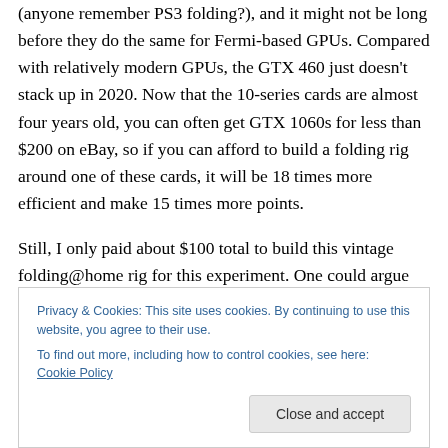(anyone remember PS3 folding?), and it might not be long before they do the same for Fermi-based GPUs. Compared with relatively modern GPUs, the GTX 460 just doesn't stack up in 2020. Now that the 10-series cards are almost four years old, you can often get GTX 1060s for less than $200 on eBay, so if you can afford to build a folding rig around one of these cards, it will be 18 times more efficient and make 15 times more points.
Still, I only paid about $100 total to build this vintage folding@home rig for this experiment. One could argue that putting old hardware to use like this keeps it out of
Privacy & Cookies: This site uses cookies. By continuing to use this website, you agree to their use. To find out more, including how to control cookies, see here: Cookie Policy